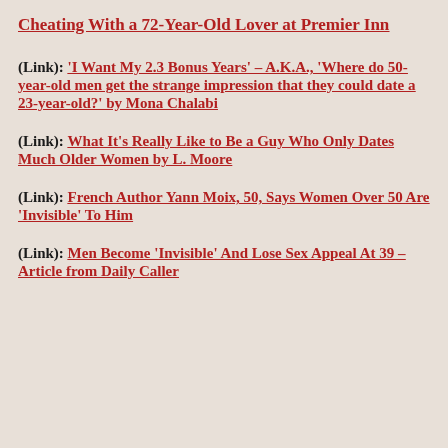Cheating With a 72-Year-Old Lover at Premier Inn
(Link):  'I Want My 2.3 Bonus Years' – A.K.A., 'Where do 50-year-old men get the strange impression that they could date a 23-year-old?' by Mona Chalabi
(Link): What It's Really Like to Be a Guy Who Only Dates Much Older Women by L. Moore
(Link): French Author Yann Moix, 50, Says Women Over 50 Are 'Invisible' To Him
(Link): Men Become 'Invisible' And Lose Sex Appeal At 39 – Article from Daily Caller